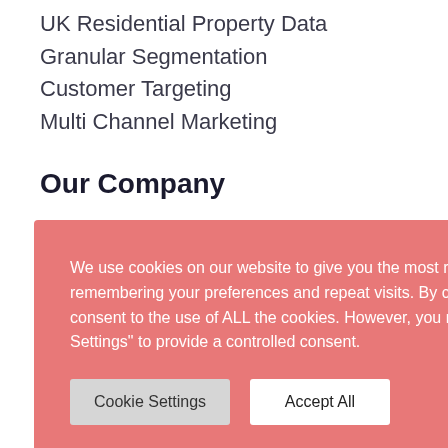UK Residential Property Data
Granular Segmentation
Customer Targeting
Multi Channel Marketing
Our Company
We use cookies on our website to give you the most relevant experience by remembering your preferences and repeat visits. By clicking “Accept All”, you consent to the use of ALL the cookies. However, you may visit “Cookie Settings” to provide a controlled consent.
All content copyright Outra 2021. All rights reserved.